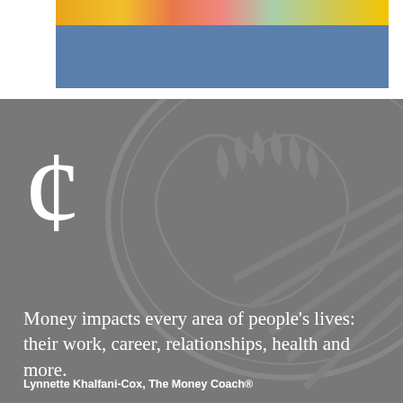[Figure (photo): Top banner area with yellow bar and blue bar, people visible at top in a colorful strip]
[Figure (illustration): Dark gray background section with large cent symbol (¢) watermark over a faded coin/currency illustration]
Money impacts every area of people's lives: their work, career, relationships, health and more.
Lynnette Khalfani-Cox, The Money Coach®